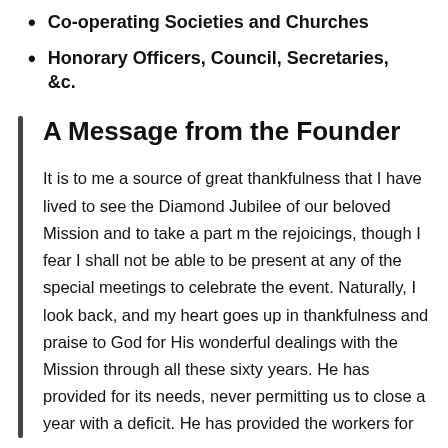Co-operating Societies and Churches
Honorary Officers, Council, Secretaries, &c.
A Message from the Founder
It is to me a source of great thankfulness that I have lived to see the Diamond Jubilee of our beloved Mission and to take a part m the rejoicings, though I fear I shall not be able to be present at any of the special meetings to celebrate the event. Naturally, I look back, and my heart goes up in thankfulness and praise to God for His wonderful dealings with the Mission through all these sixty years. He has provided for its needs, never permitting us to close a year with a deficit. He has provided the workers for